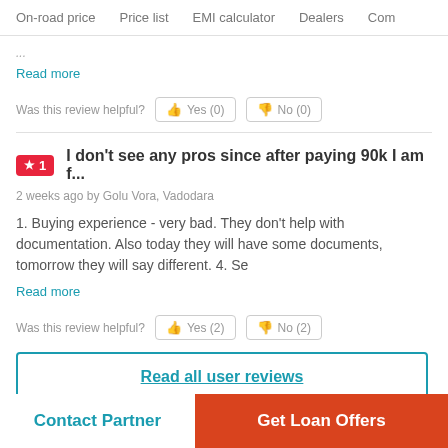On-road price   Price list   EMI calculator   Dealers   Com
Read more
Was this review helpful?  Yes (0)  No (0)
★ 1  I don't see any pros since after paying 90k I am f...
2 weeks ago by Golu Vora, Vadodara
1. Buying experience - very bad. They don't help with documentation. Also today they will have some documents, tomorrow they will say different. 4. Se
Read more
Was this review helpful?  Yes (2)  No (2)
Read all user reviews
Contact Partner
Get Loan Offers